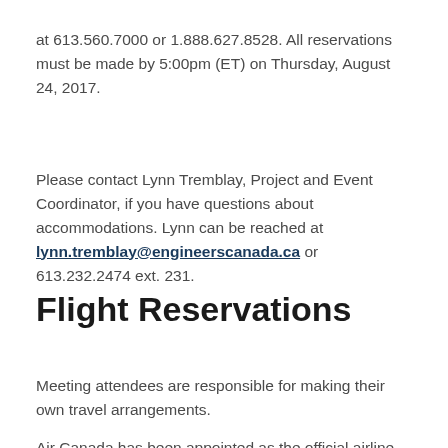at 613.560.7000 or 1.888.627.8528. All reservations must be made by 5:00pm (ET) on Thursday, August 24, 2017.
Please contact Lynn Tremblay, Project and Event Coordinator, if you have questions about accommodations. Lynn can be reached at lynn.tremblay@engineerscanada.ca or 613.232.2474 ext. 231.
Flight Reservations
Meeting attendees are responsible for making their own travel arrangements.
Air Canada has been appointed as the official airline